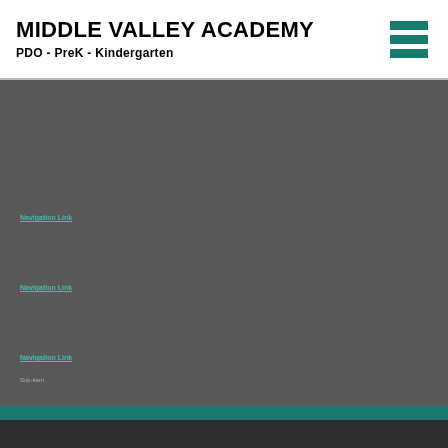MIDDLE VALLEY ACADEMY
PDO - PreK - Kindergarten
[Figure (other): Hamburger menu icon with three teal horizontal bars]
Navigation link 1
Navigation link 2
Navigation link 3